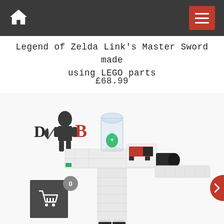Home | Menu
Legend of Zelda Link's Master Sword made using LEGO parts
£68.99
[Figure (photo): A LEGO model of the Master Sword from Legend of Zelda, displayed upright on a white background. The model features a white cross-guard (hilt), a clear cylindrical piece with a green Triforce-like gem inside, a red and white decorated center, a black handle end, and white blade legs. A DMB seller logo appears in the upper left of the image.]